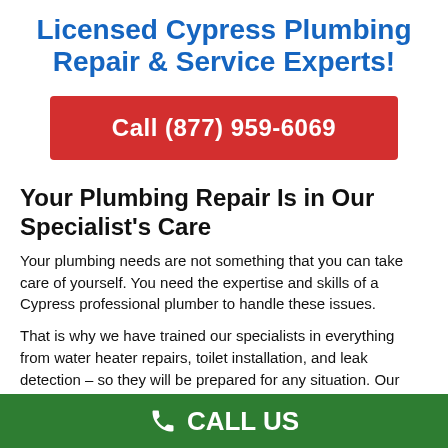Licensed Cypress Plumbing Repair & Service Experts!
Call (877) 959-6069
Your Plumbing Repair Is in Our Specialist's Care
Your plumbing needs are not something that you can take care of yourself. You need the expertise and skills of a Cypress professional plumber to handle these issues.
That is why we have trained our specialists in everything from water heater repairs, toilet installation, and leak detection – so they will be prepared for any situation. Our goal is to provide the best service possible for your home or business at an affordable price.
CALL US